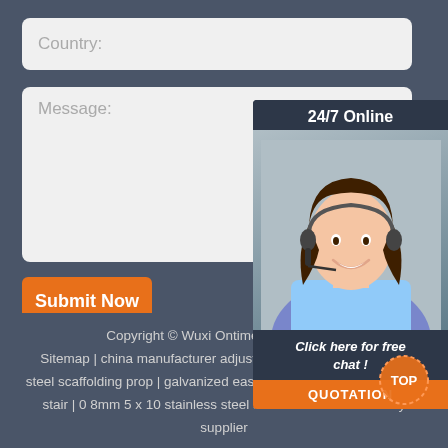Country:
Message:
Submit Now
24/7 Online
[Figure (photo): Customer service representative woman wearing headset, smiling]
Click here for free chat !
QUOTATION
Copyright © Wuxi Ontime Industrial C... Sitemap | china manufacturer adjustable galvanized push pull steel scaffolding prop | galvanized easy install strong outdoor steel stair | 0 8mm 5 x 10 stainless steel sheet coil hot sale factory supplier